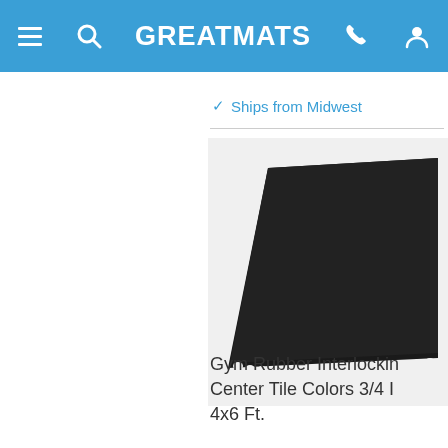GREATMATS
✓ Ships from Midwest
[Figure (photo): Black rubber interlocking gym mat tile viewed from an angle, showing scalloped/puzzle edges on two sides, matte black surface texture]
Gym Rubber Interlocking Center Tile Colors 3/4 In 4x6 Ft.